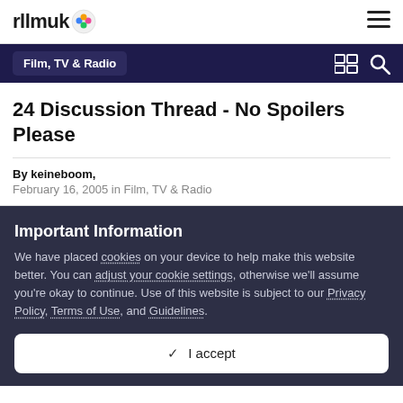rllmuk
Film, TV & Radio
24 Discussion Thread - No Spoilers Please
By keineboom,
February 16, 2005 in Film, TV & Radio
Important Information
We have placed cookies on your device to help make this website better. You can adjust your cookie settings, otherwise we'll assume you're okay to continue. Use of this website is subject to our Privacy Policy, Terms of Use, and Guidelines.
✓  I accept